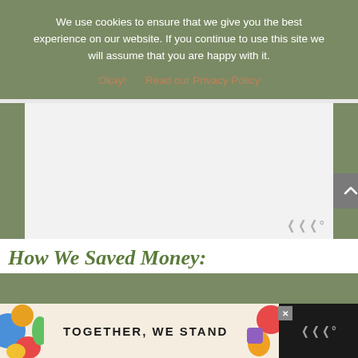We use cookies to ensure that we give you the best experience on our website. If you continue to use this site we will assume that you are happy with it.
Okay!   Read our Privacy Policy
[Figure (other): Light gray empty content/ad placeholder area with a scroll-up button and watermark logo]
How We Saved Money:
[Figure (other): Advertisement banner on dark background reading TOGETHER, WE STAND with colorful abstract shapes on left and right, close X button, and small watermark logo on right]